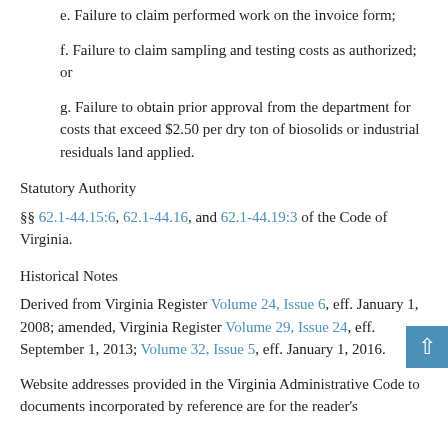e. Failure to claim performed work on the invoice form;
f. Failure to claim sampling and testing costs as authorized; or
g. Failure to obtain prior approval from the department for costs that exceed $2.50 per dry ton of biosolids or industrial residuals land applied.
Statutory Authority
§§ 62.1-44.15:6, 62.1-44.16, and 62.1-44.19:3 of the Code of Virginia.
Historical Notes
Derived from Virginia Register Volume 24, Issue 6, eff. January 1, 2008; amended, Virginia Register Volume 29, Issue 24, eff. September 1, 2013; Volume 32, Issue 5, eff. January 1, 2016.
Website addresses provided in the Virginia Administrative Code to documents incorporated by reference are for the reader's